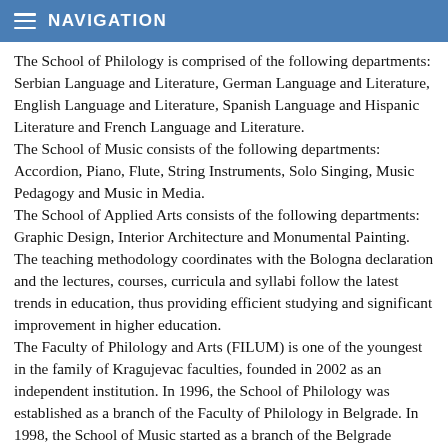NAVIGATION
The School of Philology is comprised of the following departments: Serbian Language and Literature, German Language and Literature, English Language and Literature, Spanish Language and Hispanic Literature and French Language and Literature.
The School of Music consists of the following departments: Accordion, Piano, Flute, String Instruments, Solo Singing, Music Pedagogy and Music in Media.
The School of Applied Arts consists of the following departments: Graphic Design, Interior Architecture and Monumental Painting.
The teaching methodology coordinates with the Bologna declaration and the lectures, courses, curricula and syllabi follow the latest trends in education, thus providing efficient studying and significant improvement in higher education.
The Faculty of Philology and Arts (FILUM) is one of the youngest in the family of Kragujevac faculties, founded in 2002 as an independent institution. In 1996, the School of Philology was established as a branch of the Faculty of Philology in Belgrade. In 1998, the School of Music started as a branch of the Belgrade Faculty of Music, and in 1999, the School of Applied Arts as a branch of the Belgrade Faculty of Applied Arts. The Faculty of Philology and Arts presently comprises three schools: School of Philology, School of